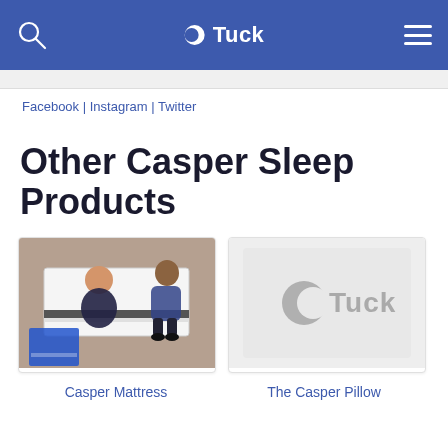Tuck (navigation bar with search and menu)
Facebook | Instagram | Twitter
Other Casper Sleep Products
[Figure (photo): Overhead view of two people unboxing a Casper mattress on the floor]
[Figure (logo): Tuck logo placeholder image in gray]
Casper Mattress
The Casper Pillow